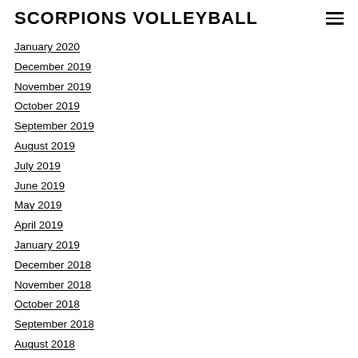SCORPIONS VOLLEYBALL
January 2020
December 2019
November 2019
October 2019
September 2019
August 2019
July 2019
June 2019
May 2019
April 2019
January 2019
December 2018
November 2018
October 2018
September 2018
August 2018
July 2018